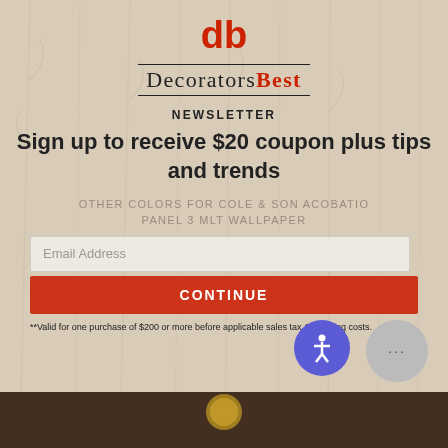[Figure (logo): DecoratorsBest logo - red stylized 'db' monogram above brand name text with serif font, decorators in black and Best in red, with ruled lines above and below]
NEWSLETTER
Sign up to receive $20 coupon plus tips and trends
OTHER COLORS FOR COLE & SON ACOBATIO PANEL 3 MLT WALLPAPER
Email Address
CONTINUE
**Valid for one purchase of $200 or more before applicable sales tax & shipping costs.
[Figure (screenshot): Bottom bar showing partial product image and accessibility/chat buttons]